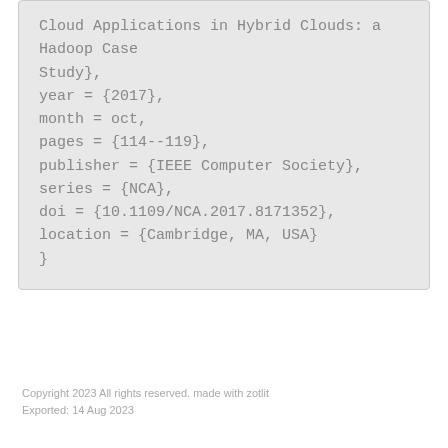Cloud Applications in Hybrid Clouds: a Hadoop Case Study},
year = {2017},
month = oct,
pages = {114--119},
publisher = {IEEE Computer Society},
series = {NCA},
doi = {10.1109/NCA.2017.8171352},
location = {Cambridge, MA, USA}
}
Copyright 2023 All rights reserved. made with zotlit
Exported: 14 Aug 2023